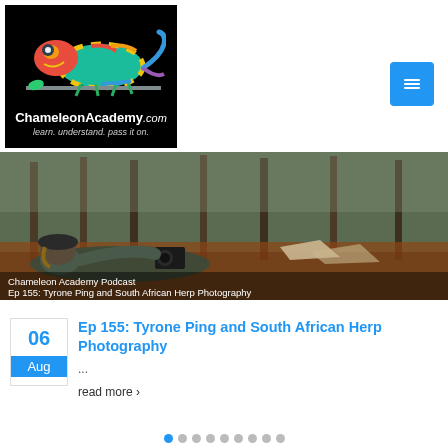[Figure (logo): ChameleonAcademy.com logo — colorful chameleon on a branch on black background with text 'ChameleonAcademy.com' and tagline 'learn. understand. pass it on.']
[Figure (photo): Person lying on forest ground photographing something with a camera. Forest with pine trees in background. Text overlay reads 'Chameleon Academy Podcast' and 'Ep 155: Tyrone Ping and South African Herp Photography']
Ep 155: Tyrone Ping and South African Herp Photography
...
read more ›